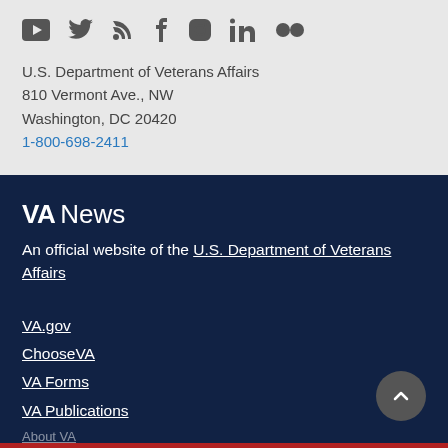[Figure (other): Social media icons row: YouTube, Twitter, RSS, Facebook, Instagram, LinkedIn, Flickr]
U.S. Department of Veterans Affairs
810 Vermont Ave., NW
Washington, DC 20420
1-800-698-2411
VA News
An official website of the U.S. Department of Veterans Affairs
VA.gov
ChooseVA
VA Forms
VA Publications
About VA